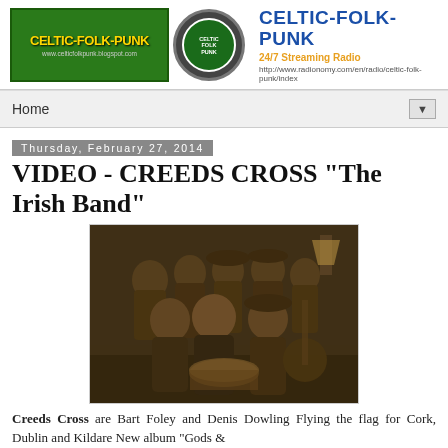[Figure (logo): Celtic-Folk-Punk blog logo with green banner and circular emblem, plus CELTIC-FOLK-PUNK text header with 24/7 Streaming Radio subtitle and URL]
Home ▼
Thursday, February 27, 2014
VIDEO - CREEDS CROSS "The Irish Band"
[Figure (photo): Sepia-toned band photo of Creeds Cross, multiple members posed together in a dark setting with instruments including banjo and drum]
Creeds Cross are Bart Foley and Denis Dowling Flying the flag for Cork, Dublin and Kildare New album "Gods &